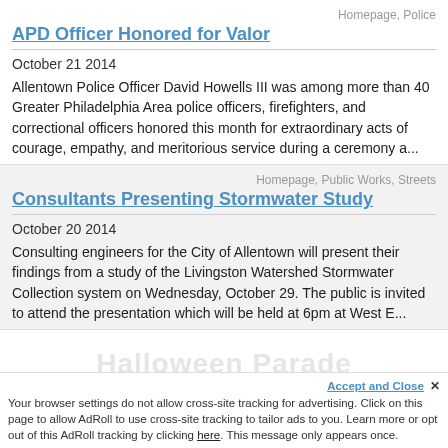Homepage, Police
APD Officer Honored for Valor
October 21 2014
Allentown Police Officer David Howells III was among more than 40 Greater Philadelphia Area police officers, firefighters, and correctional officers honored this month for extraordinary acts of courage, empathy, and meritorious service during a ceremony a...
Homepage, Public Works, Streets
Consultants Presenting Stormwater Study
October 20 2014
Consulting engineers for the City of Allentown will present their findings from a study of the Livingston Watershed Stormwater Collection system on Wednesday, October 29. The public is invited to attend the presentation which will be held at 6pm at West E...
Accept and Close ×
Your browser settings do not allow cross-site tracking for advertising. Click on this page to allow AdRoll to use cross-site tracking to tailor ads to you. Learn more or opt out of this AdRoll tracking by clicking here. This message only appears once.